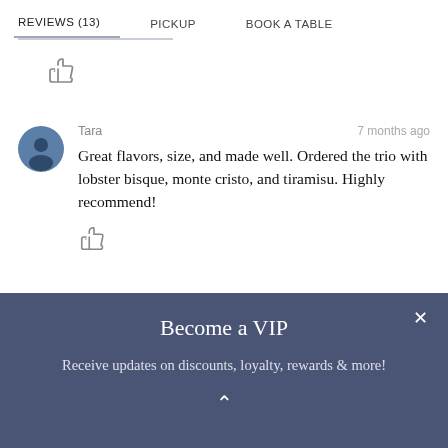REVIEWS (13)   PICKUP   BOOK A TABLE
[Figure (illustration): Thumbs up icon (like button)]
Tara   7 months ago
Great flavors, size, and made well. Ordered the trio with lobster bisque, monte cristo, and tiramisu. Highly recommend!
[Figure (illustration): Thumbs up icon (like button)]
Become a VIP
Receive updates on discounts, loyalty, rewards & more!